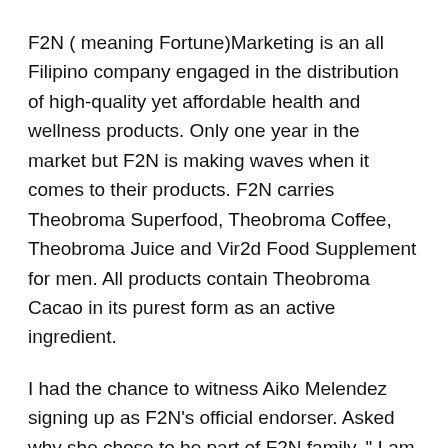F2N ( meaning Fortune)Marketing is an all Filipino company engaged in the distribution of high-quality yet affordable health and wellness products. Only one year in the market but F2N is making waves when it comes to their products. F2N carries Theobroma Superfood, Theobroma Coffee, Theobroma Juice and Vir2d Food Supplement for men. All products contain Theobroma Cacao in its purest form as an active ingredient.
I had the chance to witness Aiko Melendez signing up as F2N's official endorser. Asked why she chose to be part of F2N family, " I am using Theobrama personally and I believe in the product. I do not